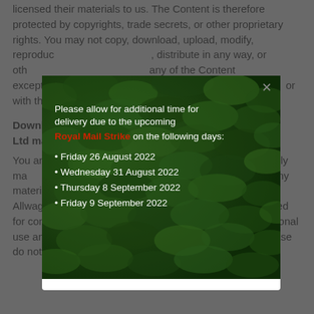licensed their materials to us. The Content is therefore protected by copyrights, trade secrets, or other proprietary rights. You may not copy, download, upload, modify, reproduce, ..., distribute in any way, or oth... any of the Content except... Use or on the A... or with the prio... Content.
[Figure (screenshot): A modal popup dialog overlaying the page. It has a white background with a green hedge/bush photograph. The modal contains text: 'Please allow for additional time for delivery due to the upcoming Royal Mail Strike on the following days:' followed by bullet points listing Friday 26 August 2022, Wednesday 31 August 2022, Thursday 8 September 2022, Friday 9 September 2022. There is an X close button in the top right corner.]
Downloading material from Allwag Promotions Ltd managed websites
You are only permitted to download material specifically made available for download for your personal use. Any material made available for downloading i.e. pdf's by the Allwag Promotions Ltd managed websites may not be used for commercial or any other purpose other than your personal use and may not be copied or duplicated in any way. Please do not remove any notices or credits on the downloaded materials and do not alter, shorten or modify the